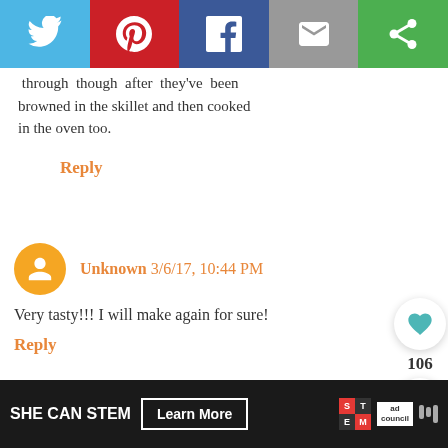[Figure (other): Social media share bar with Twitter, Pinterest, Facebook, Email, and Copy link buttons]
through though after they've been browned in the skillet and then cooked in the oven too.
Reply
Unknown 3/6/17, 10:44 PM
Very tasty!!! I will make again for sure!
Reply
[Figure (other): Floating action buttons: heart/like (106) and share]
[Figure (other): What's Next widget showing Chicken & Rice...]
Angela J. 3/30/17, 11:08 PM
In the oven now. I used 1 can each of French
SHE CAN STEM  Learn More  [ad council logos]